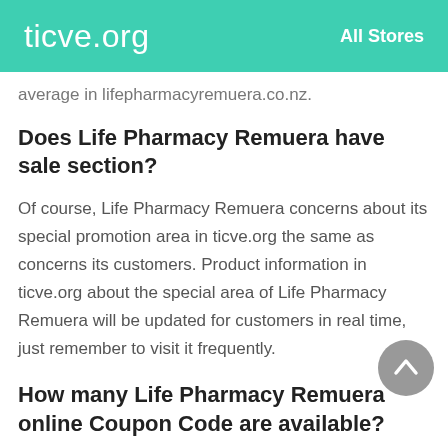ticve.org   All Stores
average in lifepharmacyremuera.co.nz.
Does Life Pharmacy Remuera have sale section?
Of course, Life Pharmacy Remuera concerns about its special promotion area in ticve.org the same as concerns its customers. Product information in ticve.org about the special area of Life Pharmacy Remuera will be updated for customers in real time, just remember to visit it frequently.
How many Life Pharmacy Remuera online Coupon Code are available?
At present the number and value of Coupon Code issued by Life Pharmacy Remuera at different time nodes are different. You can view